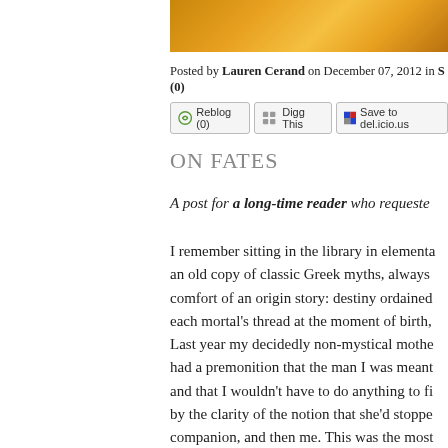[Figure (photo): Warm golden/amber toned decorative image, partially visible at top right of page]
Posted by Lauren Cerand on December 07, 2012 in S (0)
[Figure (screenshot): Reblog (0) | Digg This | Save to del.icio.us social sharing buttons]
ON FATES
A post for a long-time reader who requested...
I remember sitting in the library in elementa... an old copy of classic Greek myths, always ... comfort of an origin story: destiny ordained ... each mortal's thread at the moment of birth, ... Last year my decidedly non-mystical mothe... had a premonition that the man I was meant ... and that I wouldn't have to do anything to fi... by the clarity of the notion that she'd stoppe... companion, and then me. This was the most ... There is no element of my life that I have n... being through careful planning or unstoppab...